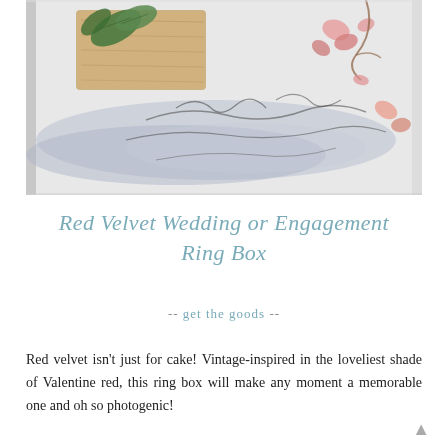[Figure (photo): Overhead flat-lay photo showing calligraphy writing on a light gray surface with dried rose petals, greenery, a wooden board, and ribbon decorations.]
Red Velvet Wedding or Engagement Ring Box
-- get the goods --
Red velvet isn't just for cake! Vintage-inspired in the loveliest shade of Valentine red, this ring box will make any moment a memorable one and oh so photogenic!